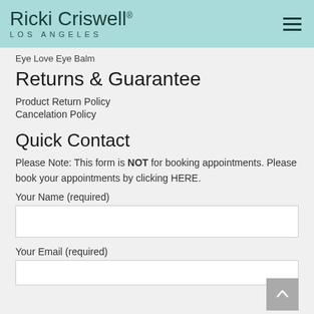Ricki Criswell® LOS ANGELES
Eye Love Eye Balm
Returns & Guarantee
Product Return Policy
Cancelation Policy
Quick Contact
Please Note: This form is NOT for booking appointments. Please book your appointments by clicking HERE.
Your Name (required)
Your Email (required)